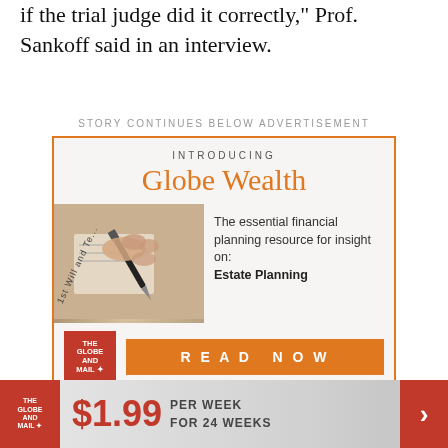if the trial judge did it correctly," Prof. Sankoff said in an interview.
STORY CONTINUES BELOW ADVERTISEMENT
[Figure (infographic): Globe and Mail 'Globe Wealth' advertisement. Text reads: INTRODUCING Globe Wealth. The essential financial planning resource for insight on: Estate Planning. READ NOW button. Globe and Mail logo.]
[Figure (infographic): Bottom banner advertisement: Globe and Mail logo, $1.99 PER WEEK FOR 24 WEEKS, red arrow button.]